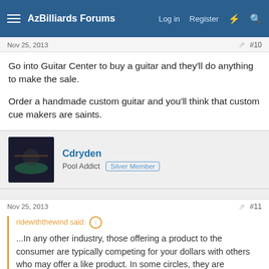AzBilliards Forums | Log in | Register
Nov 25, 2013 | #10
Go into Guitar Center to buy a guitar and they'll do anything to make the sale.

Order a handmade custom guitar and you'll think that custom cue makers are saints.
Cdryden
Pool Addict | Silver Member
Nov 25, 2013 | #11
ridewiththewind said: ↑

...In any other industry, those offering a product to the consumer are typically competing for your dollars with others who may offer a like product. In some circles, they are practically falling over one another to make the sale. They are offering a product, and are thankful for the business, in most cases.